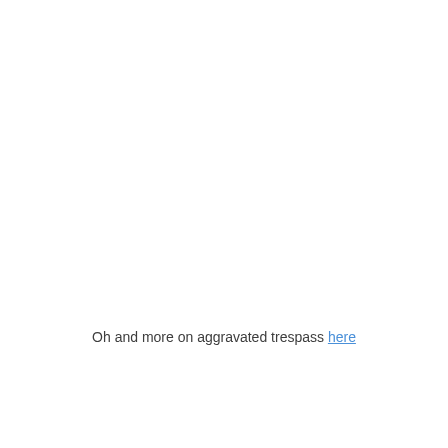Oh and more on aggravated trespass here